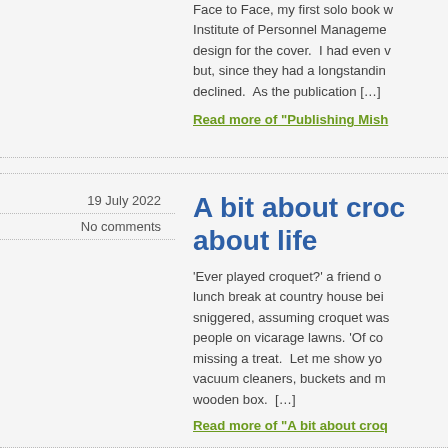Face to Face, my first solo book … Institute of Personnel Management … design for the cover. I had even … but, since they had a longstanding … declined. As the publication […]
Read more of "Publishing Mish…"
19 July 2022
No comments
A bit about croc… about life
'Ever played croquet?' a friend o… lunch break at country house bei… sniggered, assuming croquet was … people on vicarage lawns. 'Of co… missing a treat. Let me show yo… vacuum cleaners, buckets and m… wooden box. […]
Read more of "A bit about croq…"